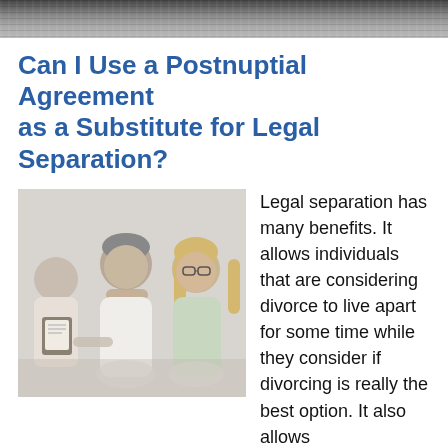[Figure (photo): Header image showing a city skyline or architectural scene in dark tones]
Can I Use a Postnuptial Agreement as a Substitute for Legal Separation?
[Figure (photo): A couple sitting with a mediator or counselor; the man rests his chin on his hand looking concerned, a woman with glasses sits beside him, and a third person holds a clipboard]
Legal separation has many benefits. It allows individuals that are considering divorce to live apart for some time while they consider if divorcing is really the best option. It also allows people that cannot divorce due to religious or other reasons to live like they are divorced without making it official. Unfortunately, Florida does not recognize legal separations. However, there is an alternative